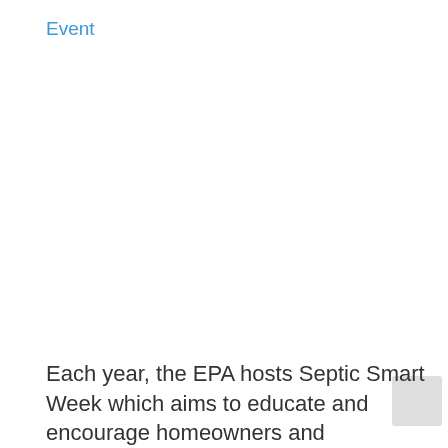Event
Each year, the EPA hosts Septic Smart Week which aims to educate and encourage homeowners and